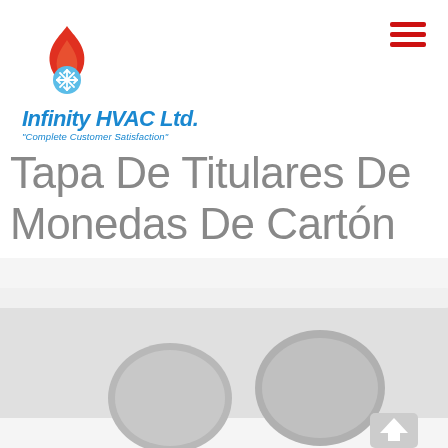[Figure (logo): Infinity HVAC Ltd. logo with flame and snowflake icon, blue text, italic bold 'Infinity HVAC Ltd.' and tagline 'Complete Customer Satisfaction']
Tapa De Titulares De Monedas De Cartón 25mm
[Figure (photo): Partial view of a white cardboard coin holder tray with circular holes, showing product at bottom of page]